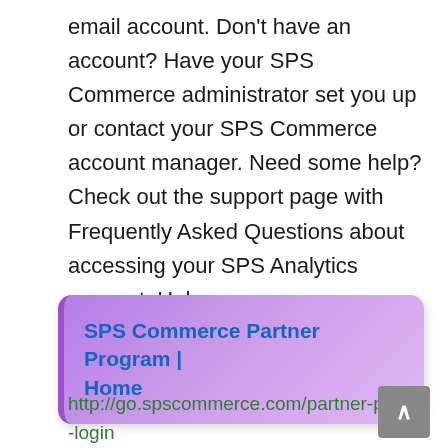email account. Don't have an account? Have your SPS Commerce administrator set you up or contact your SPS Commerce account manager. Need some help? Check out the support page with Frequently Asked Questions about accessing your SPS Analytics account. Help …
[Figure (other): A purple gradient card/button element with left purple border, containing bold blue text 'SPS Commerce Partner Program | Home']
http://go.spscommerce.com/partner-portal-login